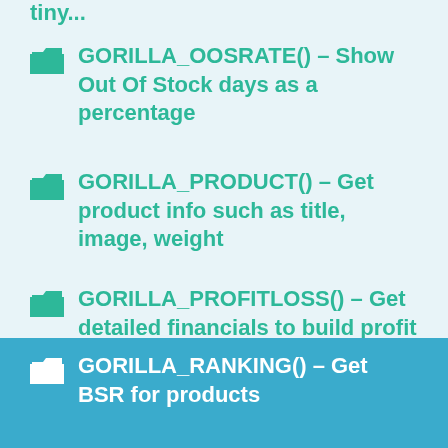tiny...
GORILLA_OOSRATE() – Show Out Of Stock days as a percentage
GORILLA_PRODUCT() – Get product info such as title, image, weight
GORILLA_PROFITLOSS() – Get detailed financials to build profit loss statement for the account or by SKU/ASIN
GORILLA_RANKHIST() – Get historical BSR for products
GORILLA_RANKING() – Get BSR for products